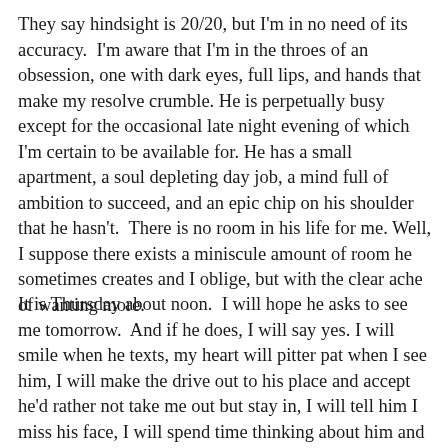They say hindsight is 20/20, but I'm in no need of its accuracy. I'm aware that I'm in the throes of an obsession, one with dark eyes, full lips, and hands that make my resolve crumble. He is perpetually busy except for the occasional late night evening of which I'm certain to be available for. He has a small apartment, a soul depleting day job, a mind full of ambition to succeed, and an epic chip on his shoulder that he hasn't. There is no room in his life for me. Well, I suppose there exists a miniscule amount of room he sometimes creates and I oblige, but with the clear ache of wanting more.
It is Thursday about noon. I will hope he asks to see me tomorrow. And if he does, I will say yes. I will smile when he texts, my heart will pitter pat when I see him, I will make the drive out to his place and accept he'd rather not take me out but stay in, I will tell him I miss his face, I will spend time thinking about him and how good he feels, I will long for him, I will hope he changes his mind about me, I will wish that maybe next time he'll ask me to stay...